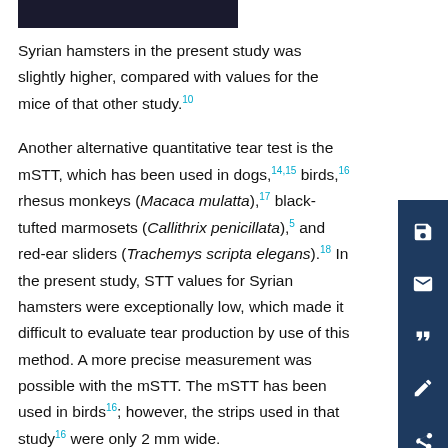Syrian hamsters in the present study was slightly higher, compared with values for the mice of that other study.10
Another alternative quantitative tear test is the mSTT, which has been used in dogs,14,15 birds,16 rhesus monkeys (Macaca mulatta),17 black-tufted marmosets (Callithrix penicillata),5 and red-ear sliders (Trachemys scripta elegans).18 In the present study, STT values for Syrian hamsters were exceptionally low, which made it difficult to evaluate tear production by use of this method. A more precise measurement was possible with the mSTT. The mSTT has been used in birds16; however, the strips used in that study16 were only 2 mm wide.